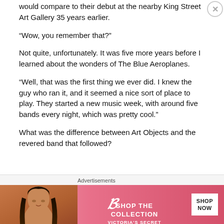would compare to their debut at the nearby King Street Art Gallery 35 years earlier.
“Wow, you remember that?”
Not quite, unfortunately. It was five more years before I learned about the wonders of The Blue Aeroplanes.
“Well, that was the first thing we ever did. I knew the guy who ran it, and it seemed a nice sort of place to play. They started a new music week, with around five bands every night, which was pretty cool.”
What was the difference between Art Objects and the revered band that followed?
[Figure (infographic): Victoria's Secret advertisement banner with 'SHOP THE COLLECTION' text and 'SHOP NOW' button on pink background with model photo]
Advertisements